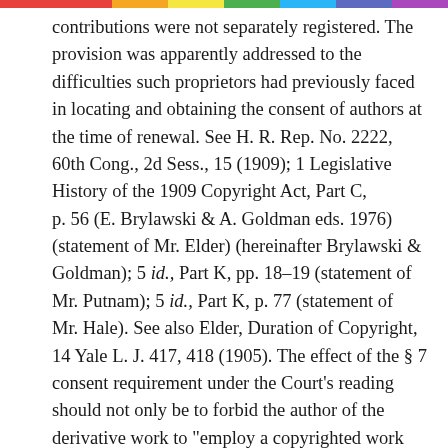contributions were not separately registered. The provision was apparently addressed to the difficulties such proprietors had previously faced in locating and obtaining the consent of authors at the time of renewal. See H. R. Rep. No. 2222, 60th Cong., 2d Sess., 15 (1909); 1 Legislative History of the 1909 Copyright Act, Part C, p. 56 (E. Brylawski & A. Goldman eds. 1976) (statement of Mr. Elder) (hereinafter Brylawski & Goldman); 5 id., Part K, pp. 18–19 (statement of Mr. Putnam); 5 id., Part K, p. 77 (statement of Mr. Hale). See also Elder, Duration of Copyright, 14 Yale L. J. 417, 418 (1905). The effect of the § 7 consent requirement under the Court's reading should not only be to forbid the author of the derivative work to "employ a copyrighted work without the author's permission," ante, at 232, but also to penalize him by depriving him both of the right to use his own new material and, in theory, of the right to protect that new material against use by the public. It is not unlikely that a Court which